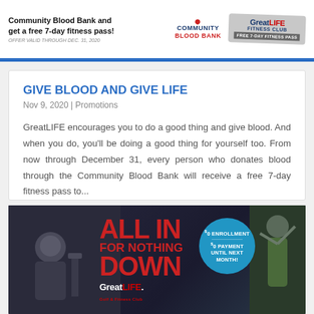[Figure (infographic): Top banner showing Community Blood Bank promotion with GreatLIFE Fitness Club free 7-day fitness pass offer valid through Dec 31, 2020]
GIVE BLOOD AND GIVE LIFE
Nov 9, 2020 | Promotions
GreatLIFE encourages you to do a good thing and give blood. And when you do, you'll be doing a good thing for yourself too. From now through December 31, every person who donates blood through the Community Blood Bank will receive a free 7-day fitness pass to...
[Figure (infographic): GreatLIFE Golf & Fitness Club advertisement: ALL IN FOR NOTHING DOWN with $0 Enrollment and $0 Payment Until Next Month offer, featuring fitness club photography]